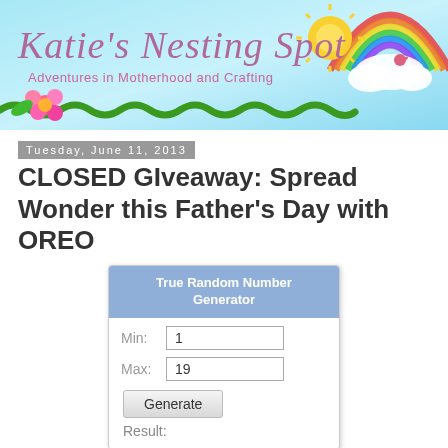[Figure (illustration): Katie's Nesting Spot blog banner with light blue background, cursive pink/purple title text, subtitle 'Adventures in Motherhood and Crafting', green wavy ribbon, colorful flowers, sun, clouds, rainbow, and bird decorations]
Tuesday, June 11, 2013
CLOSED GIveaway: Spread Wonder this Father's Day with OREO
[Figure (screenshot): True Random Number Generator widget showing Min: 1, Max: 19, Generate button, and Result: label]